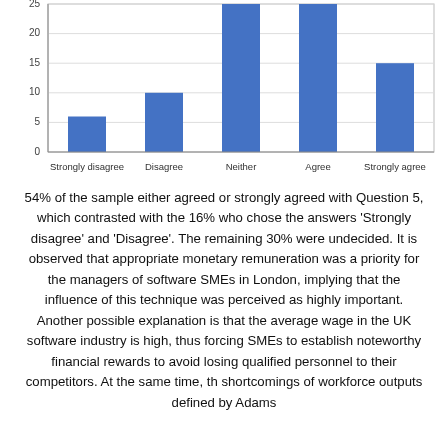[Figure (bar-chart): ]
54% of the sample either agreed or strongly agreed with Question 5, which contrasted with the 16% who chose the answers 'Strongly disagree' and 'Disagree'. The remaining 30% were undecided. It is observed that appropriate monetary remuneration was a priority for the managers of software SMEs in London, implying that the influence of this technique was perceived as highly important. Another possible explanation is that the average wage in the UK software industry is high, thus forcing SMEs to establish noteworthy financial rewards to avoid losing qualified personnel to their competitors. At the same time, the shortcomings of workforce outputs defined by Adams